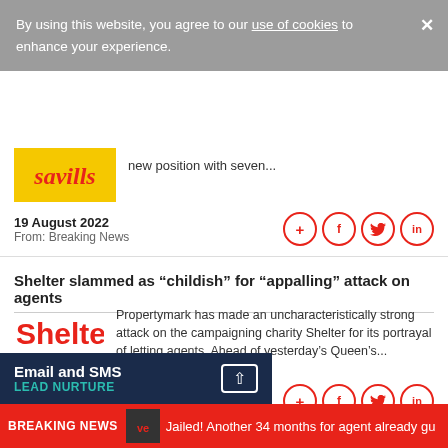By using this website, you agree to our use of cookies to enhance your experience.
[Figure (logo): Savills logo - yellow background with red italic text]
new position with seven...
19 August 2022
From: Breaking News
Shelter slammed as “childish” for “appalling” attack on agents
[Figure (logo): Shelter logo - red text]
Propertymark has made an uncharacteristically strong attack on the campaigning charity Shelter for its portrayal of letting agents. Ahead of yesterday’s Queen’s...
11 May 2022
From: Breaking News
Email and SMS LEAD NURTURE
BREAKING NEWS Jailed! Another 34 months for agent already gu